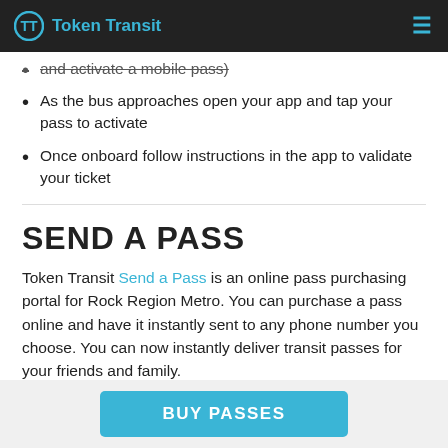Token Transit
and activate a mobile pass)
As the bus approaches open your app and tap your pass to activate
Once onboard follow instructions in the app to validate your ticket
SEND A PASS
Token Transit Send a Pass is an online pass purchasing portal for Rock Region Metro. You can purchase a pass online and have it instantly sent to any phone number you choose. You can now instantly deliver transit passes for your friends and family.
BUY PASSES